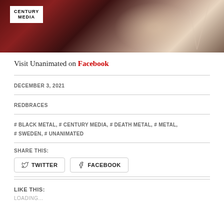[Figure (photo): Album cover image with Century Media logo in top-left corner. Dark reddish-brown background with illustrated figure. White border box with CENTURY MEDIA text.]
Visit Unanimated on Facebook
DECEMBER 3, 2021
REDBRACES
# BLACK METAL, # CENTURY MEDIA, # DEATH METAL, # METAL, # SWEDEN, # UNANIMATED
SHARE THIS:
TWITTER
FACEBOOK
LIKE THIS:
LOADING...